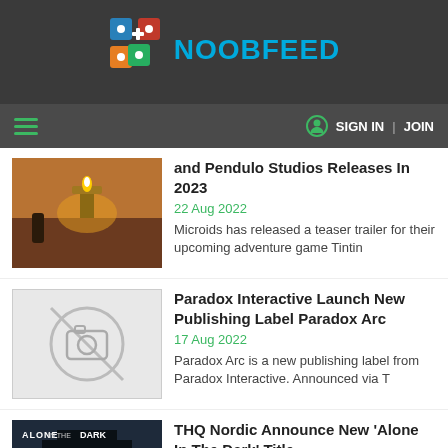NOOBFEED
and Pendulo Studios Releases In 2023
22 Aug 2022
Microids has released a teaser trailer for their upcoming adventure game Tintin
Paradox Interactive Launch New Publishing Label Paradox Arc
17 Aug 2022
Paradox Arc is a new publishing label from Paradox Interactive. Announced via T
THQ Nordic Announce New 'Alone In The Dark' Title
15 Aug 2022
In 1992 Atari's Alone in the Dark set a precedent for video game horro